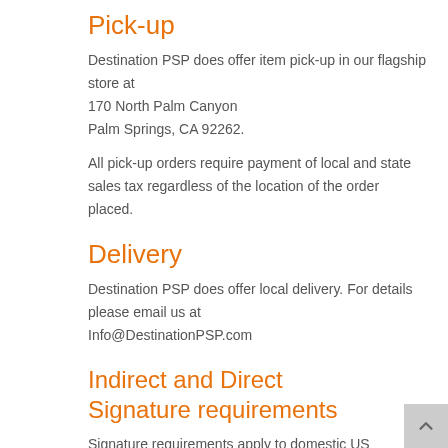Pick-up
Destination PSP does offer item pick-up in our flagship store at
170 North Palm Canyon
Palm Springs, CA 92262.
All pick-up orders require payment of local and state sales tax regardless of the location of the order placed.
Delivery
Destination PSP does offer local delivery. For details please email us at
Info@DestinationPSP.com
Indirect and Direct Signature requirements
Signature requirements apply to domestic US shipments ONLY.